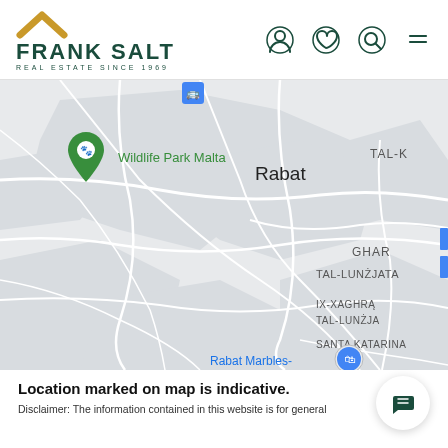[Figure (logo): Frank Salt Real Estate logo with gold chevron and dark green text]
[Figure (map): Google Maps screenshot showing Rabat, Malta area with Wildlife Park Malta marker, area labels including TAL-K, GHAR, TAL-LUNŻJATA, IX-XAGHRA TAL-LUNŻJA, SANTA KATARINA, and Rabat Marbles- marker]
Location marked on map is indicative.
Disclaimer: The information contained in this website is for general